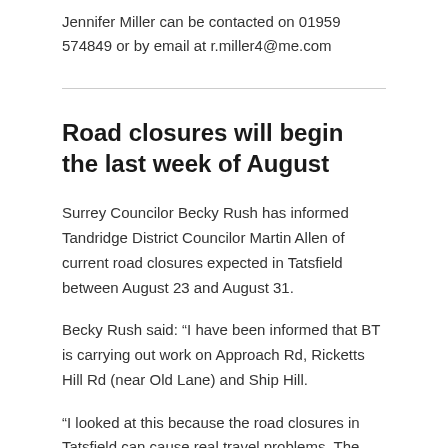Jennifer Miller can be contacted on 01959 574849 or by email at r.miller4@me.com
Road closures will begin the last week of August
Surrey Councilor Becky Rush has informed Tandridge District Councilor Martin Allen of current road closures expected in Tatsfield between August 23 and August 31.
Becky Rush said: “I have been informed that BT is carrying out work on Approach Rd, Ricketts Hill Rd (near Old Lane) and Ship Hill.
“I looked at this because the road closures in Tatsfield can cause real travel problems. The roads have to be closed due to